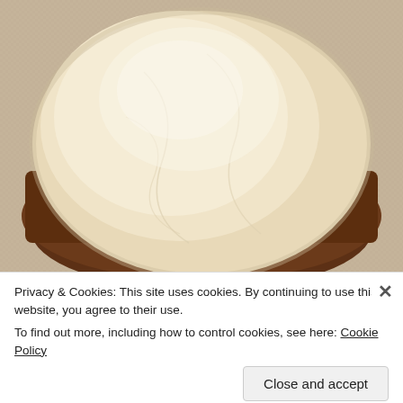[Figure (photo): Close-up photograph of a frosted cookie or brownie with thick pale cream/beige colored icing on top, sitting on a textured woven surface. The frosting has a smooth swirled texture with natural crinkle lines.]
Privacy & Cookies: This site uses cookies. By continuing to use this website, you agree to their use.
To find out more, including how to control cookies, see here: Cookie Policy